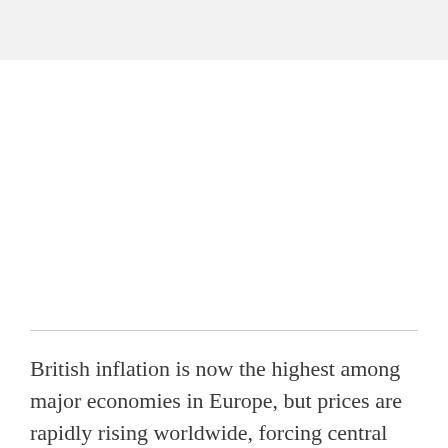British inflation is now the highest among major economies in Europe, but prices are rapidly rising worldwide, forcing central banks around the globe to